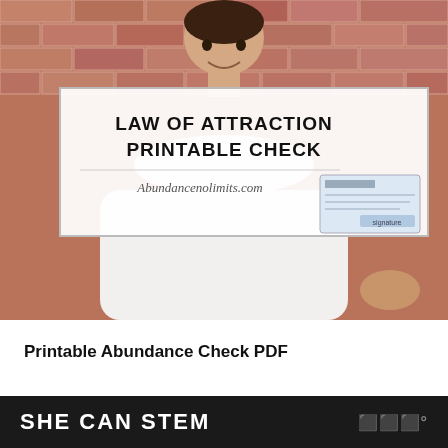[Figure (photo): Woman smiling and holding a check in front of a brick wall background, with an overlay card showing 'LAW OF ATTRACTION PRINTABLE CHECK' and the website Abundancenolimits.com]
Printable Abundance Check PDF
[Figure (photo): Partially visible second image at the bottom of the content area]
SHE CAN STEM